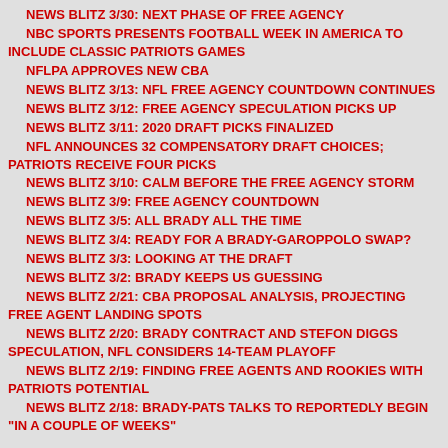NEWS BLITZ 3/30: NEXT PHASE OF FREE AGENCY
NBC SPORTS PRESENTS FOOTBALL WEEK IN AMERICA TO INCLUDE CLASSIC PATRIOTS GAMES
NFLPA APPROVES NEW CBA
NEWS BLITZ 3/13: NFL FREE AGENCY COUNTDOWN CONTINUES
NEWS BLITZ 3/12: FREE AGENCY SPECULATION PICKS UP
NEWS BLITZ 3/11: 2020 DRAFT PICKS FINALIZED
NFL ANNOUNCES 32 COMPENSATORY DRAFT CHOICES; PATRIOTS RECEIVE FOUR PICKS
NEWS BLITZ 3/10: CALM BEFORE THE FREE AGENCY STORM
NEWS BLITZ 3/9: FREE AGENCY COUNTDOWN
NEWS BLITZ 3/5: ALL BRADY ALL THE TIME
NEWS BLITZ 3/4: READY FOR A BRADY-GAROPPOLO SWAP?
NEWS BLITZ 3/3: LOOKING AT THE DRAFT
NEWS BLITZ 3/2: BRADY KEEPS US GUESSING
NEWS BLITZ 2/21: CBA PROPOSAL ANALYSIS, PROJECTING FREE AGENT LANDING SPOTS
NEWS BLITZ 2/20: BRADY CONTRACT AND STEFON DIGGS SPECULATION, NFL CONSIDERS 14-TEAM PLAYOFF
NEWS BLITZ 2/19: FINDING FREE AGENTS AND ROOKIES WITH PATRIOTS POTENTIAL
NEWS BLITZ 2/18: BRADY-PATS TALKS TO REPORTEDLY BEGIN "IN A COUPLE OF WEEKS"